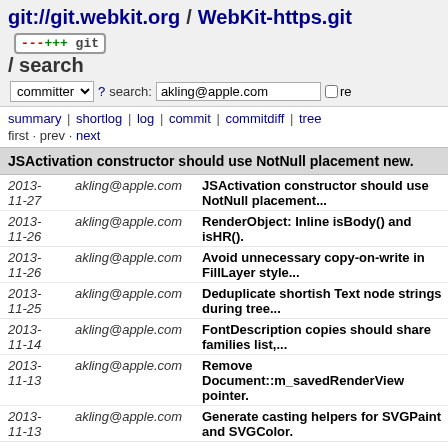git://git.webkit.org / WebKit-https.git / search
committer ? search: akling@apple.com re
summary | shortlog | log | commit | commitdiff | tree
first · prev · next
JSActivation constructor should use NotNull placement new.
| Date | Author | Commit message |
| --- | --- | --- |
| 2013-11-27 | akling@apple.com | JSActivation constructor should use NotNull placement... |
| 2013-11-26 | akling@apple.com | RenderObject: Inline isBody() and isHR(). |
| 2013-11-26 | akling@apple.com | Avoid unnecessary copy-on-write in FillLayer style... |
| 2013-11-25 | akling@apple.com | Deduplicate shortish Text node strings during tree... |
| 2013-11-14 | akling@apple.com | FontDescription copies should share family list,... |
| 2013-11-13 | akling@apple.com | Remove Document::m_savedRenderView pointer. |
| 2013-11-13 | akling@apple.com | Generate casting helpers for SVGPaint and SVGColor. |
| 2013-11-13 | akling@apple.com | Generate casting helpers for scrolling tree classes. |
| 2013-11-13 | akling@apple.com | Turn some not-so-rare ElementRareData bit... |